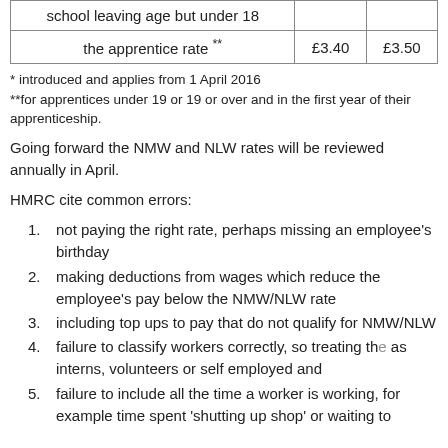|  |  |  |
| --- | --- | --- |
| school leaving age but under 18 |  |  |
| the apprentice rate ** | £3.40 | £3.50 |
* introduced and applies from 1 April 2016
**for apprentices under 19 or 19 or over and in the first year of their apprenticeship.
Going forward the NMW and NLW rates will be reviewed annually in April.
HMRC cite common errors:
not paying the right rate, perhaps missing an employee's birthday
making deductions from wages which reduce the employee's pay below the NMW/NLW rate
including top ups to pay that do not qualify for NMW/NLW
failure to classify workers correctly, so treating the as interns, volunteers or self employed and
failure to include all the time a worker is working, for example time spent 'shutting up shop' or waiting to